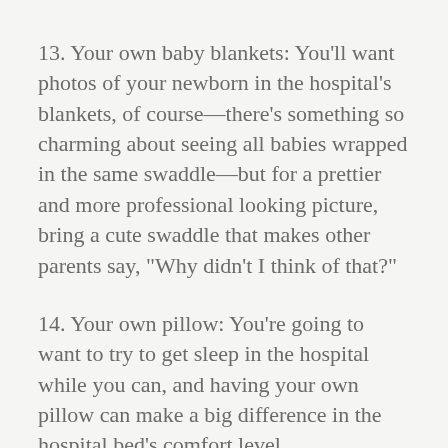13. Your own baby blankets: You'll want photos of your newborn in the hospital's blankets, of course—there's something so charming about seeing all babies wrapped in the same swaddle—but for a prettier and more professional looking picture, bring a cute swaddle that makes other parents say, "Why didn't I think of that?"
14. Your own pillow: You're going to want to try to get sleep in the hospital while you can, and having your own pillow can make a big difference in the hospital bed's comfort level.
15. Prenatal pills: Doctors advise to continue taking them after delivery. Also helpful, if you're into it, is